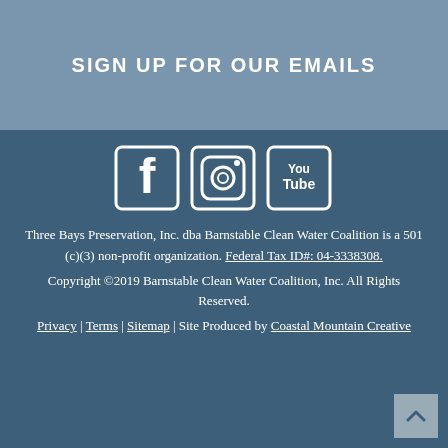SIGN UP FOR OUR EMAILS
[Figure (illustration): Social media icons: Facebook, Instagram, YouTube]
Three Bays Preservation, Inc. dba Barnstable Clean Water Coalition is a 501 (c)(3) non-profit organization. Federal Tax ID#: 04-3338308.
Copyright ©2019 Barnstable Clean Water Coalition, Inc. All Rights Reserved.
Privacy | Terms | Sitemap | Site Produced by Coastal Mountain Creative